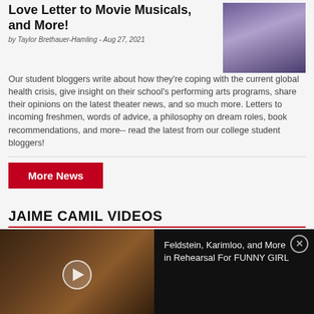Love Letter to Movie Musicals, and More!
by Taylor Brethauer-Hamling - Aug 27, 2021
[Figure (photo): Photo of people in costumes/performance attire in what appears to be a store or rehearsal space]
Our student bloggers write about how they're coping with the current global health crisis, give insight on their school's performing arts programs, share their opinions on the latest theater news, and so much more. Letters to incoming freshmen, words of advice, a philosophy on dream roles, book recommendations, and more-- read the latest from our college student bloggers!
More News
JAIME CAMIL VIDEOS
[Figure (screenshot): Video thumbnail showing a woman with mouth open (singing/speaking) in a floral dress, with a play button overlay]
Feldstein, Karimloo, and More in Rehearsal For FUNNY GIRL